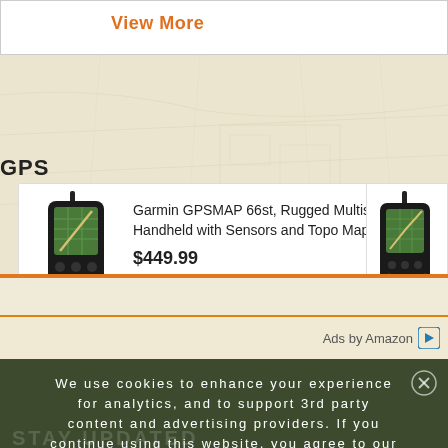View More
GPS
Garmin GPSMAP 66st, Rugged Multisatellite Handheld with Sensors and Topo Maps, 3"...
$449.99
★★★★★
Ads by Amazon
We use cookies to enhance your experience for analytics, and to support 3rd party content and advertising providers. If you continue using this website, you agree to our privacy and legal agreement.
Ok